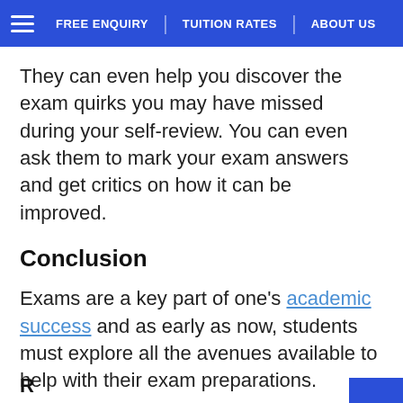FREE ENQUIRY | TUITION RATES | ABOUT US
They can even help you discover the exam quirks you may have missed during your self-review. You can even ask them to mark your exam answers and get critics on how it can be improved.
Conclusion
Exams are a key part of one's academic success and as early as now, students must explore all the avenues available to help with their exam preparations.